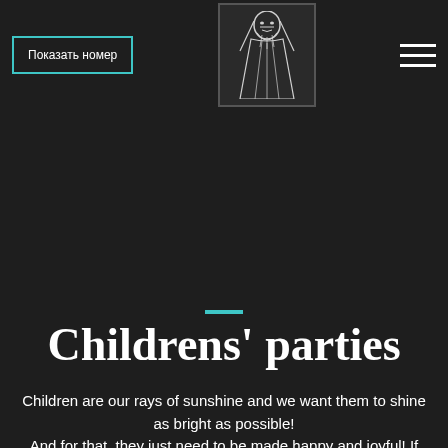Показать номер
[Figure (logo): Black and white illustration of a robed figure, website logo]
Childrens' parties
Children are our rays of sunshine and we want them to shine as bright as possible! And for that, they just need to be made happy and joyful! If you choose us, we will do everything to